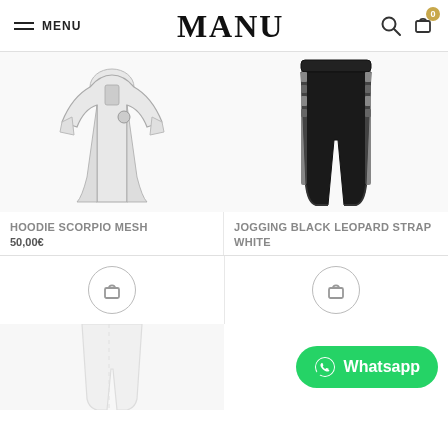MENU | MANU | 0
[Figure (photo): White hoodie with scorpio mesh design on product display]
[Figure (photo): Black jogging pants with leopard strap white detailing]
HOODIE SCORPIO MESH
50,00€
JOGGING BLACK LEOPARD STRAP WHITE
[Figure (photo): White/light colored pants product image (partially visible)]
Whatsapp